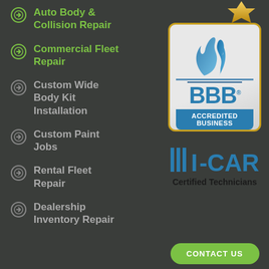Auto Body & Collision Repair
Commercial Fleet Repair
Custom Wide Body Kit Installation
Custom Paint Jobs
Rental Fleet Repair
Dealership Inventory Repair
[Figure (logo): BBB Accredited Business badge with blue flame logo on gray/white card with gold border]
[Figure (logo): I-CAR Certified Technicians logo in blue]
[Figure (logo): Gold star/award badge at top right]
CONTACT US